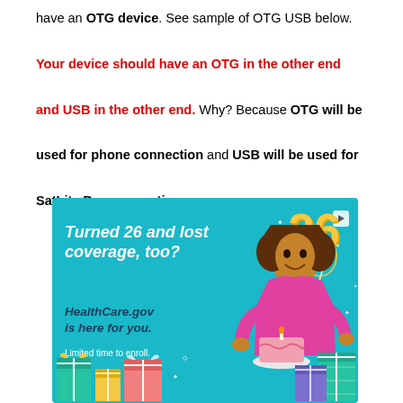have an OTG device. See sample of OTG USB below. Your device should have an OTG in the other end and USB in the other end. Why? Because OTG will be used for phone connection and USB will be used for SatLite Box connection.
[Figure (illustration): HealthCare.gov advertisement banner on teal/cyan background. Shows a young woman in a pink shirt holding a birthday cake, surrounded by gift boxes and sparkles. Large '26' balloon text in yellow on the right. Text reads: 'Turned 26 and lost coverage, too? HealthCare.gov is here for you. Limited time to enroll.']